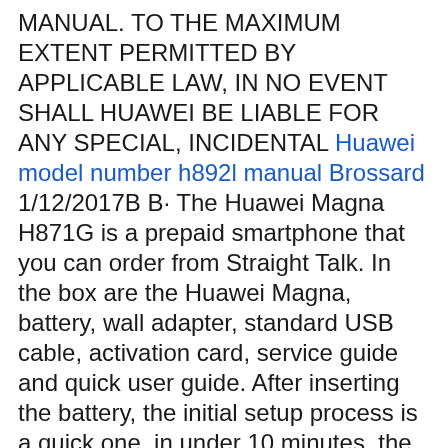MANUAL. TO THE MAXIMUM EXTENT PERMITTED BY APPLICABLE LAW, IN NO EVENT SHALL HUAWEI BE LIABLE FOR ANY SPECIAL, INCIDENTAL Huawei model number h892l manual Brossard 1/12/2017B B· The Huawei Magna H871G is a prepaid smartphone that you can order from Straight Talk. In the box are the Huawei Magna, battery, wall adapter, standard USB cable, activation card, service guide and quick user guide. After inserting the battery, the initial setup process is a quick one, in under 10 minutes, the phone is ready to use.
Dymond